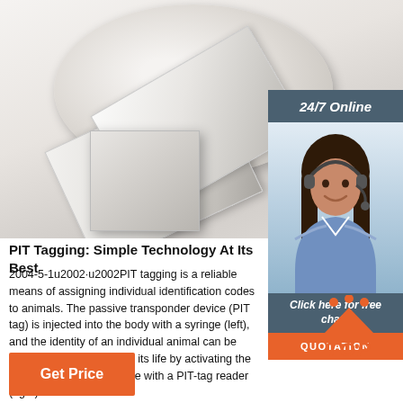[Figure (photo): Roll of RFID/PIT tags labels, white translucent labels on a roll, with one label peeled showing a microchip embedded inside]
[Figure (photo): Customer service representative woman with headset smiling, with 24/7 Online banner above, Click here for free chat button, and QUOTATION orange button]
PIT Tagging: Simple Technology At Its Best
2004-5-1u2002·u2002PIT tagging is a reliable means of assigning individual identification codes to animals. The passive transponder device (PIT tag) is injected into the body with a syringe (left), and the identity of an individual animal can be determined for the rest of its life by activating the unique alphanumeric code with a PIT-tag reader (right).
[Figure (infographic): TOP back-to-top icon with orange triangle/arrow pointing up and orange dots, with orange italic TOP text]
Get Price